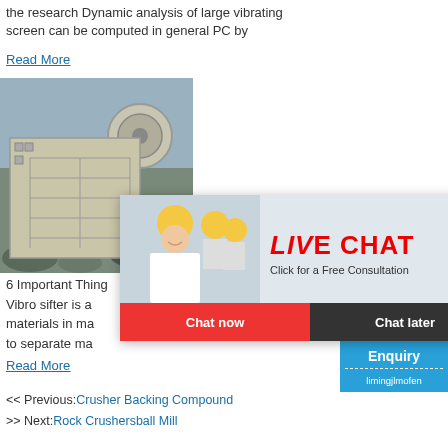the research Dynamic analysis of large vibrating screen can be computed in general PC by
Read More
[Figure (photo): Industrial machinery/crusher equipment in a quarry or industrial setting]
6 Important Thing... Vibro sifter is a... materials in ma... to separate ma...
Read More
[Figure (infographic): Live Chat popup overlay with woman in hard hat and workers in background, Chat now and Chat later buttons]
[Figure (photo): Right sidebar with crusher machine image, hour online text, Click me to chat>> button, Enquiry section, limingjlmofen text]
<< Previous: Crusher Backing Compound
>> Next: Rock Crushersball Mill